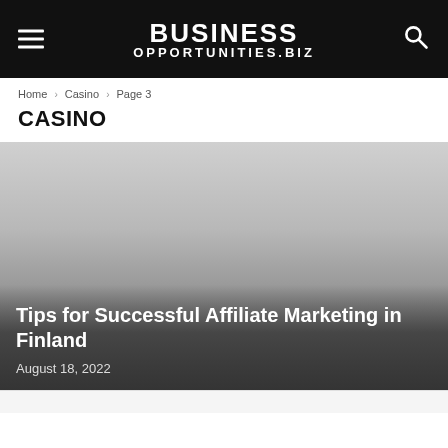BUSINESS OPPORTUNITIES.BIZ
Home › Casino › Page 3
CASINO
[Figure (photo): Gradient gray image used as article card background for affiliate marketing article]
Tips for Successful Affiliate Marketing in Finland
August 18, 2022